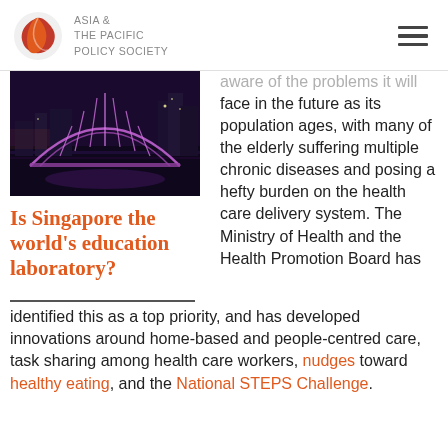ASIA & THE PACIFIC POLICY SOCIETY
[Figure (photo): Nighttime photo of a illuminated architectural bridge structure (Helix Bridge, Singapore) with purple/pink lights over water, city skyline in background.]
Is Singapore the world's education laboratory?
aware of the problems it will face in the future as its population ages, with many of the elderly suffering multiple chronic diseases and posing a hefty burden on the health care delivery system. The Ministry of Health and the Health Promotion Board has identified this as a top priority, and has developed innovations around home-based and people-centred care, task sharing among health care workers, nudges toward healthy eating, and the National STEPS Challenge.